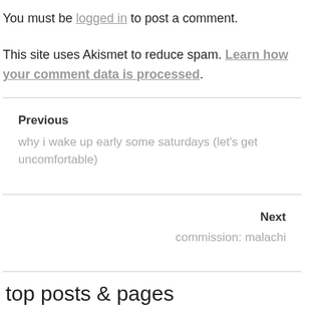You must be logged in to post a comment.
This site uses Akismet to reduce spam. Learn how your comment data is processed.
Previous
why i wake up early some saturdays (let's get uncomfortable)
Next
commission: malachi
top posts & pages